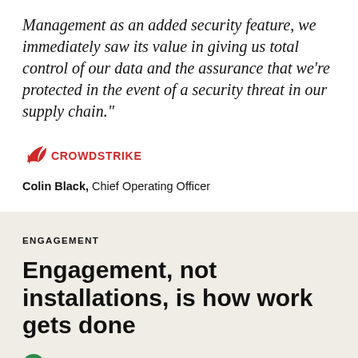Management as an added security feature, we immediately saw its value in giving us total control of our data and the assurance that we're protected in the event of a security threat in our supply chain."
[Figure (logo): CrowdStrike logo — falcon icon in red with CROWDSTRIKE wordmark in red]
Colin Black, Chief Operating Officer
ENGAGEMENT
Engagement, not installations, is how work gets done